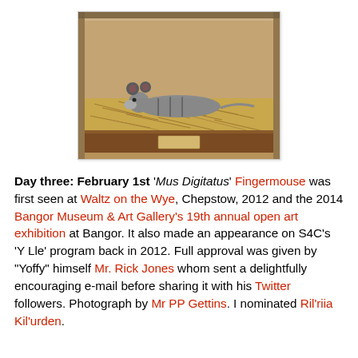[Figure (photo): A small finger mouse figure (Mus Digitatus) lying in a glass display case filled with hay/straw, with round ears and wearing a grey outfit, displayed in a museum setting.]
Day three: February 1st 'Mus Digitatus' Fingermouse was first seen at Waltz on the Wye, Chepstow, 2012 and the 2014 Bangor Museum & Art Gallery's 19th annual open art exhibition at Bangor. It also made an appearance on S4C's 'Y Lle' program back in 2012. Full approval was given by "Yoffy" himself Mr. Rick Jones whom sent a delightfully encouraging e-mail before sharing it with his Twitter followers. Photograph by Mr PP Gettins. I nominated Ril'riia Kil'urden.